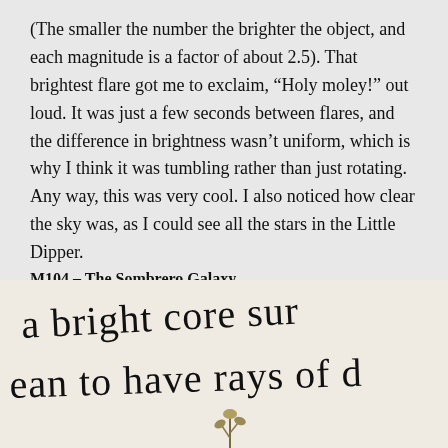(The smaller the number the brighter the object, and each magnitude is a factor of about 2.5). That brightest flare got me to exclaim, “Holy moley!” out loud. It was just a few seconds between flares, and the difference in brightness wasn’t uniform, which is why I think it was tumbling rather than just rotating. Any way, this was very cool. I also noticed how clear the sky was, as I could see all the stars in the Little Dipper.
M104 – The Sombrero Galaxy
[Figure (photo): A photograph of a handwritten note showing partial text: 'a bright core sur' on first line and 'ean to have rays of d' on second line, with a small plant visible at the bottom.]